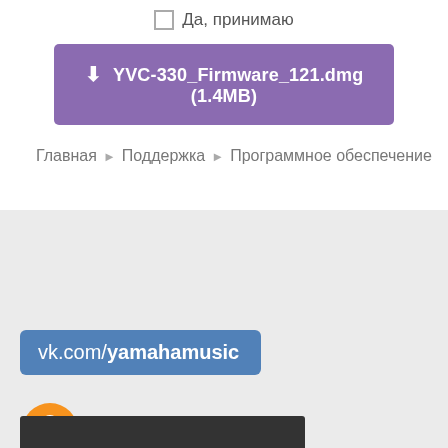Да, принимаю
⬇ YVC-330_Firmware_121.dmg (1.4MB)
Главная ▶ Поддержка ▶ Программное обеспечение
[Figure (screenshot): VK social network badge button: vk.com/yamahamusic]
[Figure (logo): Odnoklassniki logo with orange icon and text одноклассники]
[Figure (screenshot): Dark bar at bottom of page]